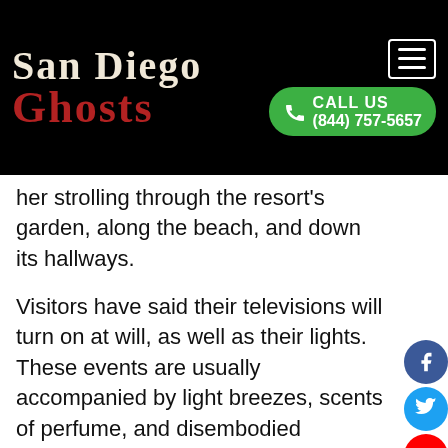San Diego Ghosts | CALL US (844) 757-5657
her strolling through the resort's garden, along the beach, and down its hallways.
Visitors have said their televisions will turn on at will, as well as their lights. These events are usually accompanied by light breezes, scents of perfume, and disembodied sounds.
A gift shop within the Hotel del Coronado features many memorabilia from Marilyn Monroe's film, Some Like It Hot, which if you remember, was filmed at the hotel. Employees and guests alike have personally seen this memorabilia fall off the shelving and racks and onto the floor. Staff also inform hotel guests that